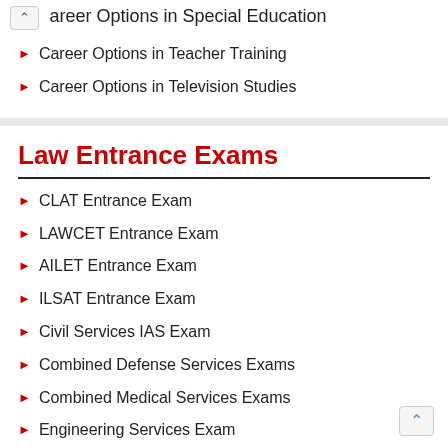Career Options in Special Education
Career Options in Teacher Training
Career Options in Television Studies
Law Entrance Exams
CLAT Entrance Exam
LAWCET Entrance Exam
AILET Entrance Exam
ILSAT Entrance Exam
Civil Services IAS Exam
Combined Defense Services Exams
Combined Medical Services Exams
Engineering Services Exam
National Defense Academy Exam